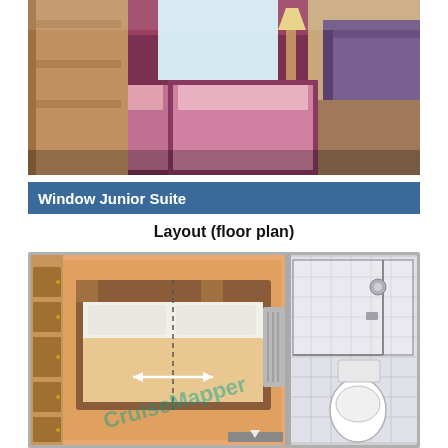[Figure (photo): Interior photo of a cruise ship Window Junior Suite showing a double bed with mauve/pink bedding, matching curtains, a sofa, and wood-paneled walls.]
Window Junior Suite
Layout (floor plan)
[Figure (engineering-diagram): Top-down floor plan illustration of the Window Junior Suite showing the bedroom with a double bed (with double-arrow indicating convertible configuration), a wardrobe/closet on the left, a radiator on the right wall, and a bathroom with shower and toilet in the upper right. CruiseMapper watermark visible.]